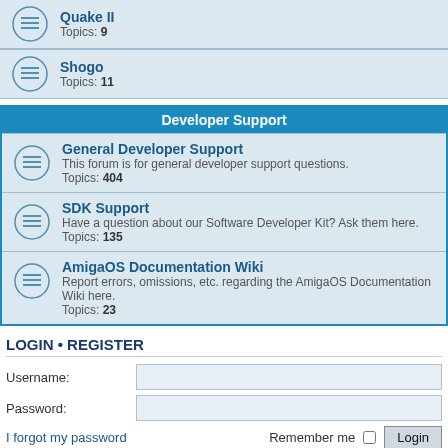Quake II - Topics: 9
Shogo - Topics: 11
Developer Support
General Developer Support - This forum is for general developer support questions. Topics: 404
SDK Support - Have a question about our Software Developer Kit? Ask them here. Topics: 135
AmigaOS Documentation Wiki - Report errors, omissions, etc. regarding the AmigaOS Documentation Wiki here. Topics: 23
LOGIN • REGISTER
Username:
Password:
I forgot my password
Remember me
WHO IS ONLINE
In total there are 73 users online :: 1 registered, 0 hidden and 72 guests (based on users active over the past 5 minutes)